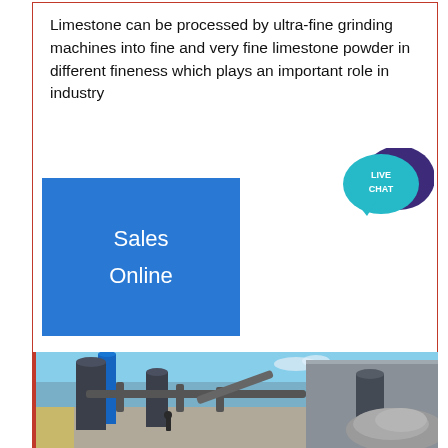Limestone can be processed by ultra-fine grinding machines into fine and very fine limestone powder in different fineness which plays an important role in industry
[Figure (other): Blue button with 'Sales Online' text and a live chat speech bubble icon in teal/purple]
[Figure (photo): Industrial limestone grinding facility with large silos, conveyor belts, pipes, and a pile of crushed limestone aggregate under a blue sky]